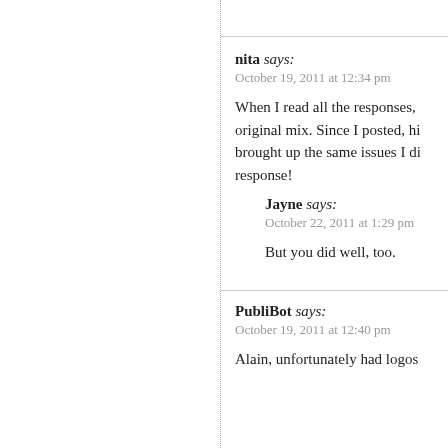nita says: October 19, 2011 at 12:34 pm
When I read all the responses, original mix. Since I posted, hi brought up the same issues I di response!
Jayne says: October 22, 2011 at 1:29 pm
But you did well, too.
PubliBot says: October 19, 2011 at 12:40 pm
Alain, unfortunately had logos